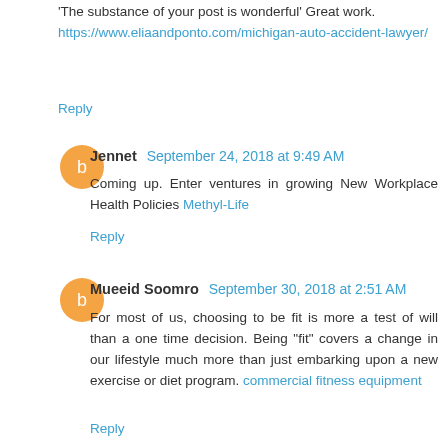'The substance of your post is wonderful' Great work. https://www.eliaandponto.com/michigan-auto-accident-lawyer/
Reply
Jennet  September 24, 2018 at 9:49 AM
Coming up. Enter ventures in growing New Workplace Health Policies Methyl-Life
Reply
Mueeid Soomro  September 30, 2018 at 2:51 AM
For most of us, choosing to be fit is more a test of will than a one time decision. Being "fit" covers a change in our lifestyle much more than just embarking upon a new exercise or diet program. commercial fitness equipment
Reply